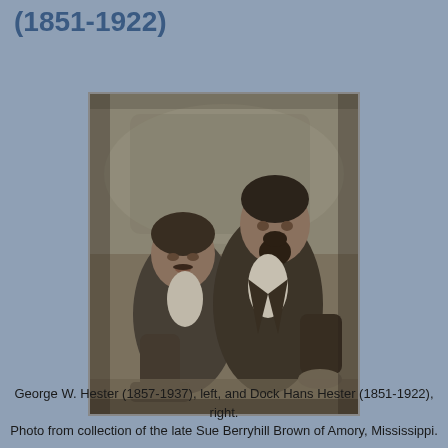(1851-1922)
[Figure (photo): Black and white photograph of two men seated outdoors. George W. Hester (1857-1937) is on the left and Dock Hans Hester (1851-1922) is on the right. Both are dressed in dark suits.]
George W. Hester (1857-1937), left, and Dock Hans Hester (1851-1922), right.
Photo from collection of the late Sue Berryhill Brown of Amory, Mississippi.